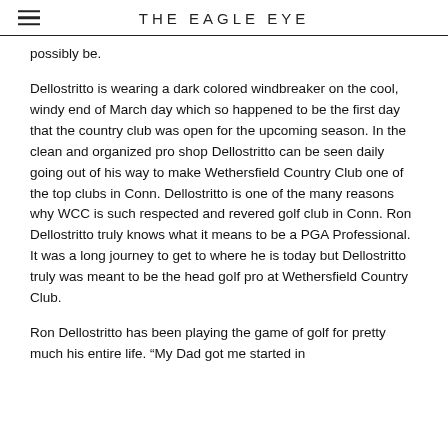THE EAGLE EYE
possibly be.
Dellostritto is wearing a dark colored windbreaker on the cool, windy end of March day which so happened to be the first day that the country club was open for the upcoming season. In the clean and organized pro shop Dellostritto can be seen daily going out of his way to make Wethersfield Country Club one of the top clubs in Conn. Dellostritto is one of the many reasons why WCC is such respected and revered golf club in Conn. Ron Dellostritto truly knows what it means to be a PGA Professional. It was a long journey to get to where he is today but Dellostritto truly was meant to be the head golf pro at Wethersfield Country Club.
Ron Dellostritto has been playing the game of golf for pretty much his entire life. “My Dad got me started in